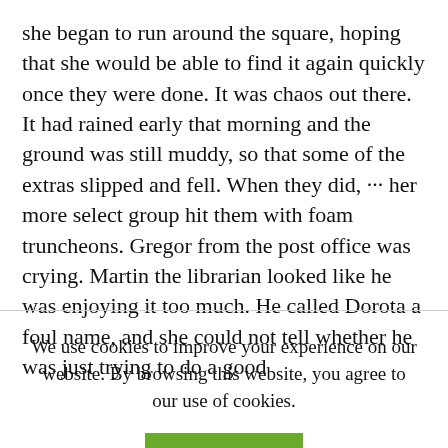she began to run around the square, hoping that she would be able to find it again quickly once they were done. It was chaos out there. It had rained early that morning and the ground was still muddy, so that some of the extras slipped and fell. When they did, ··· her more select group hit them with foam truncheons. Gregor from the post office was crying. Martin the librarian looked like he was enjoying it too much. He called Dorota a foul name, and she could not tell whether he was just trying to do a good
We use cookies to improve your experience on our website. By browsing this website, you agree to our use of cookies.
ACCEPT